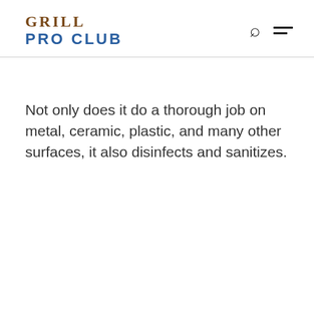GRILL PRO CLUB
Not only does it do a thorough job on metal, ceramic, plastic, and many other surfaces, it also disinfects and sanitizes.